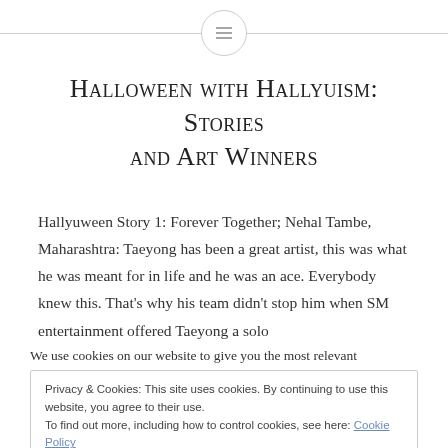[menu icon with horizontal lines]
Halloween with Hallyuism: Stories and Art Winners
Hallyuween Story 1: Forever Together; Nehal Tambe, Maharashtra: Taeyong has been a great artist, this was what he was meant for in life and he was an ace. Everybody knew this. That's why his team didn't stop him when SM entertainment offered Taeyong a solo
We use cookies on our website to give you the most relevant
Privacy & Cookies: This site uses cookies. By continuing to use this website, you agree to their use.
To find out more, including how to control cookies, see here: Cookie Policy
Close and accept